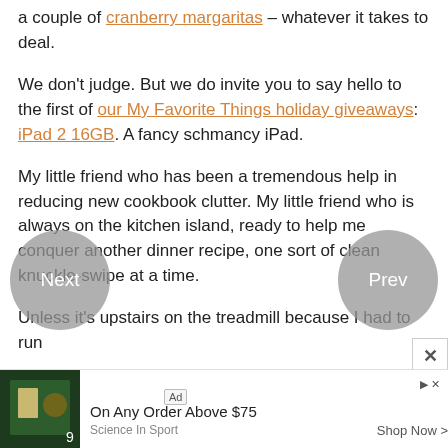a couple of cranberry margaritas – whatever it takes to deal.
We don't judge. But we do invite you to say hello to the first of our My Favorite Things holiday giveaways: iPad 2 16GB. A fancy schmancy iPad.
My little friend who has been a tremendous help in reducing new cookbook clutter. My little friend who is always on the kitchen island, ready to help me conquer another dinner recipe, one sort of clean knuckle-swipe at a time.
Unless it's upstairs on the treadmill because I had to run
[Figure (screenshot): Advertisement bar at bottom: Science In Sport ad with dark product image, 'Ad' label, text 'On Any Order Above $75', 'Science In Sport', 'Shop Now >' button, and close/play icons.]